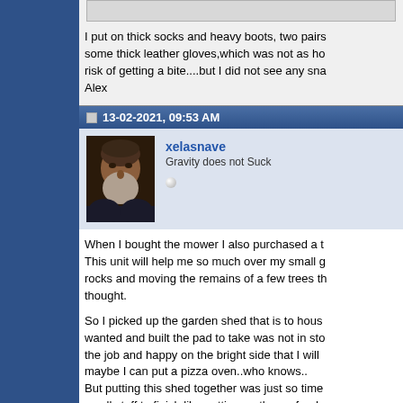[Figure (screenshot): Gray image bar at top of first post]
I put on thick socks and heavy boots, two pairs some thick leather gloves,which was not as ho risk of getting a bite....but I did not see any sna Alex
13-02-2021, 09:53 AM
[Figure (photo): Avatar of user xelasnave - man with long gray beard]
xelasnave
Gravity does not Suck
When I bought the mower I also purchased a t This unit will help me so much over my small g rocks and moving the remains of a few trees th thought.

So I picked up the garden shed that is to hous wanted and built the pad to take was not in sto the job and happy on the bright side that I will maybe I can put a pizza oven..who knows.. But putting this shed together was just so time small stuff to finish like putting on the roof..adm damaged my left hand however even with two